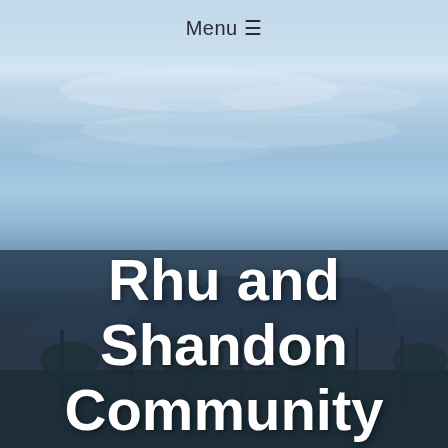[Figure (photo): Blurred outdoor landscape photo showing mountains in the background with a blue sky and some clouds, and trees/posts in the foreground. The lower portion has a dark semi-transparent overlay.]
Menu ☰
Rhu and Shandon Community Council